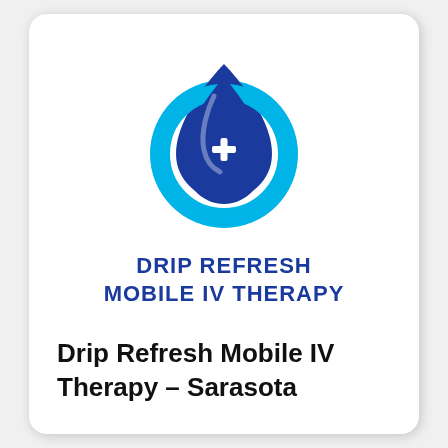[Figure (logo): Drip Refresh Mobile IV Therapy logo: a dark navy blue water drop shape with a white medical cross inside, surrounded by a cyan/light blue circular arc, on a white background. Below the graphic, bold navy blue text reads DRIP REFRESH MOBILE IV THERAPY in two lines.]
Drip Refresh Mobile IV Therapy – Sarasota